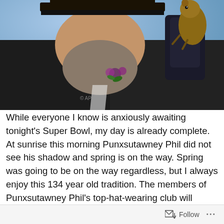[Figure (photo): A bearded man wearing a dark coat and top hat holds up a groundhog (Punxsutawney Phil) with black leather gloves. The background is blue/grey sky. The man has a floral boutonniere.]
While everyone I know is anxiously awaiting tonight's Super Bowl, my day is already complete. At sunrise this morning Punxsutawney Phil did not see his shadow and spring is on the way. Spring was going to be on the way regardless, but I always enjoy this 134 year old tradition. The members of Punxsutawney Phil's top-hat-wearing club will celebrate all day in western Pennsylvania at a festival that has its origin in a German legend that says if a furry rodent casts a
Follow ...